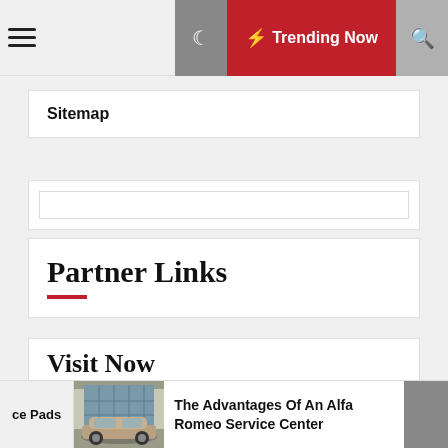Trending Now
Sitemap
Partner Links
Visit Now
Home Design
ce Pads
[Figure (photo): Photo of an Alfa Romeo car in front of a building]
The Advantages Of An Alfa Romeo Service Center